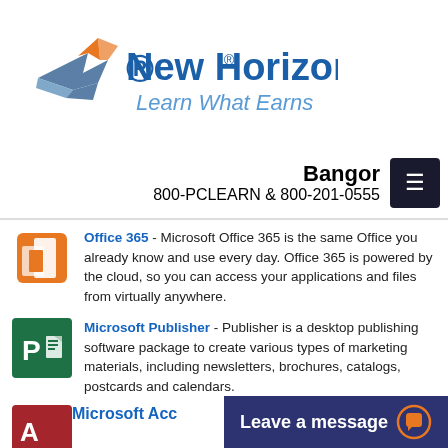[Figure (logo): New Horizons logo with tagline 'Learn What Earns']
Bangor
800-PCLEARN  & 800-201-0555
Office 365 - Microsoft Office 365 is the same Office you already know and use every day. Office 365 is powered by the cloud, so you can access your applications and files from virtually anywhere.
Microsoft Publisher - Publisher is a desktop publishing software package to create various types of marketing materials, including newsletters, brochures, catalogs, postcards and calendars.
Microsoft Acc…
Leave a message